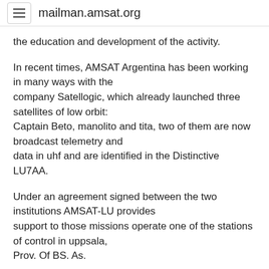mailman.amsat.org
the education and development of the activity.
In recent times, AMSAT Argentina has been working in many ways with the company Satellogic, which already launched three satellites of low orbit: Captain Beto, manolito and tita, two of them are now broadcast telemetry and data in uhf and are identified in the Distinctive LU7AA.
Under an agreement signed between the two institutions AMSAT-LU provides support to those missions operate one of the stations of control in uppsala, Prov. Of BS. As.
Currently satellogic is facing the construction of a constellation of satellites of observation of the earth and has invited AMSAT-LU to